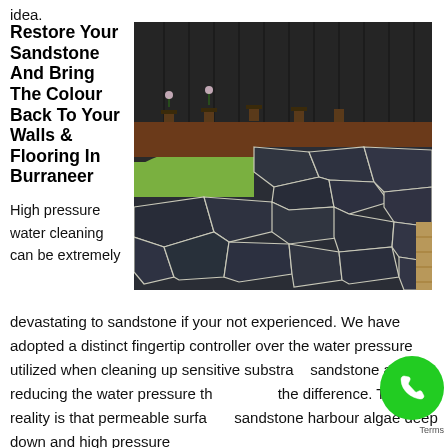idea.
Restore Your Sandstone And Bring The Colour Back To Your Walls & Flooring In Burraneer
[Figure (photo): Outdoor patio area with dark irregular flagstone/sandstone pavers with white grout lines, green lawn visible, dark metal fence in background, potted plants along fence.]
High pressure water cleaning can be extremely devastating to sandstone if your not experienced. We have adopted a distinct fingertip controller over the water pressure utilized when cleaning up sensitive substrate sandstone and its reducing the water pressure that makes the difference. The reality is that permeable surface sandstone harbour algae deep down and high pressure...